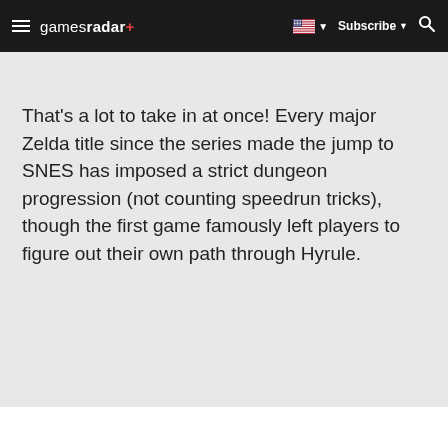gamesradar+ | Subscribe | Search
That's a lot to take in at once! Every major Zelda title since the series made the jump to SNES has imposed a strict dungeon progression (not counting speedrun tricks), though the first game famously left players to figure out their own path through Hyrule.